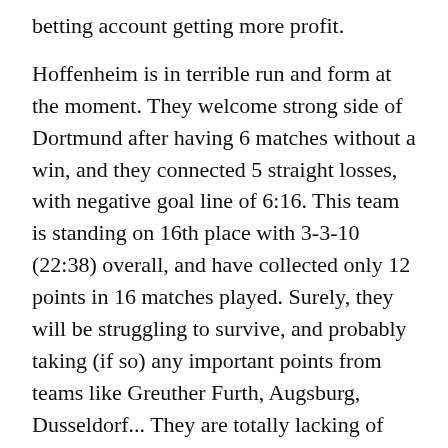betting account getting more profit.
Hoffenheim is in terrible run and form at the moment. They welcome strong side of Dortmund after having 6 matches without a win, and they connected 5 straight losses, with negative goal line of 6:16. This team is standing on 16th place with 3-3-10 (22:38) overall, and have collected only 12 points in 16 matches played. Surely, they will be struggling to survive, and probably taking (if so) any important points from teams like Greuther Furth, Augsburg, Dusseldorf... They are totally lacking of creativity in the middle with only Joselu being in -some- form from their 5 attacking options. Nothing else to say for this team at the moment.
Bookmaker: Bet365 -> Get Your free bet here!